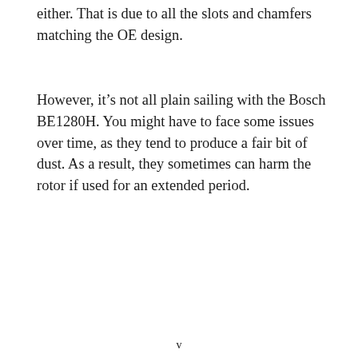either. That is due to all the slots and chamfers matching the OE design.
However, it’s not all plain sailing with the Bosch BE1280H. You might have to face some issues over time, as they tend to produce a fair bit of dust. As a result, they sometimes can harm the rotor if used for an extended period.
v